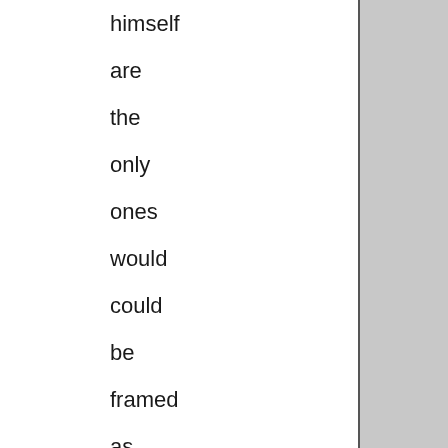himself are the only ones would could be framed as Condi's superiors in this political process -- and I know that Bush is not the person Avni